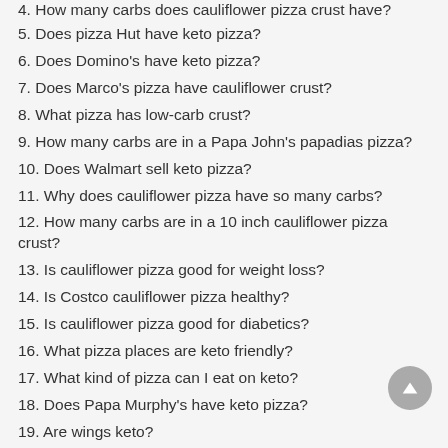4. How many carbs does cauliflower pizza crust have?
5. Does pizza Hut have keto pizza?
6. Does Domino's have keto pizza?
7. Does Marco's pizza have cauliflower crust?
8. What pizza has low-carb crust?
9. How many carbs are in a Papa John's papadias pizza?
10. Does Walmart sell keto pizza?
11. Why does cauliflower pizza have so many carbs?
12. How many carbs are in a 10 inch cauliflower pizza crust?
13. Is cauliflower pizza good for weight loss?
14. Is Costco cauliflower pizza healthy?
15. Is cauliflower pizza good for diabetics?
16. What pizza places are keto friendly?
17. What kind of pizza can I eat on keto?
18. Does Papa Murphy's have keto pizza?
19. Are wings keto?
20. Are Pizza Hut bone in wings keto?
21. How many carbs are in Marco's crustless pizza?